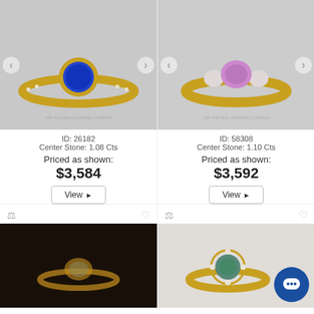[Figure (photo): Blue sapphire ring in yellow gold setting with small diamonds on band, on gray background, watermarked THE NATURAL SAPPHIRE COMPANY]
ID: 26182
Center Stone: 1.08 Cts
Priced as shown:
$3,584
[Figure (photo): Pink sapphire ring in yellow gold three-stone setting with round white diamonds, on gray background, watermarked THE NATURAL SAPPHIRE COMPANY]
ID: 58308
Center Stone: 1.10 Cts
Priced as shown:
$3,592
[Figure (photo): Ring on dark/black background, partial view]
[Figure (photo): Teal/green sapphire cluster ring in yellow gold on light background, with chat bubble overlay]